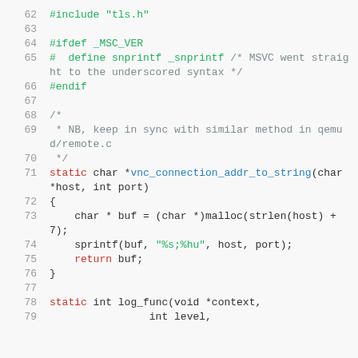Code listing lines 62-79: C source code showing #include, #ifdef, a comment block, and function definitions for vnc_connection_addr_to_string and log_func